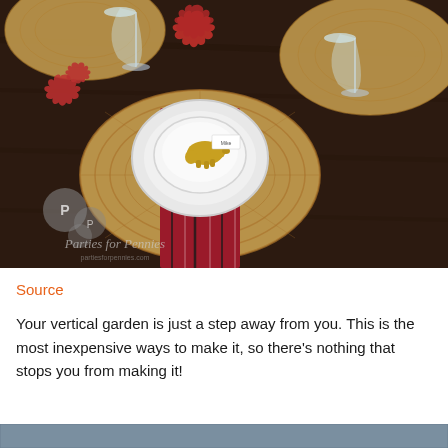[Figure (photo): Overhead view of a table setting with wicker placemats, plaid napkins, white bowls and plates, wine glasses, red decorative leaves, and a small gold pig figurine used as a place card holder. Watermark reads 'Parties for Pennies'.]
Source
Your vertical garden is just a step away from you. This is the most inexpensive ways to make it, so there's nothing that stops you from making it!
[Figure (photo): Partial view of another image at the bottom of the page.]